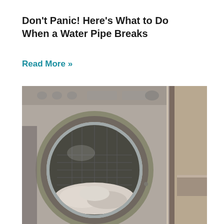Don't Panic! Here's What to Do When a Water Pipe Breaks
Read More »
[Figure (photo): Close-up photo of a front-loading washing machine with its door open, showing laundry inside the drum. The machine is silver/stainless steel finish. Another appliance is partially visible on the right side.]